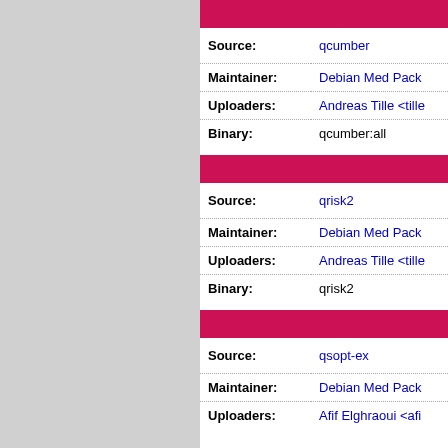| Field | Value |
| --- | --- |
| Source: | qcumber |
| Maintainer: | Debian Med Pack |
| Uploaders: | Andreas Tille <tille |
| Binary: | qcumber:all |
| Field | Value |
| --- | --- |
| Source: | qrisk2 |
| Maintainer: | Debian Med Pack |
| Uploaders: | Andreas Tille <tille |
| Binary: | qrisk2 |
| Field | Value |
| --- | --- |
| Source: | qsopt-ex |
| Maintainer: | Debian Med Pack |
| Uploaders: | Afif Elghraoui <afi |